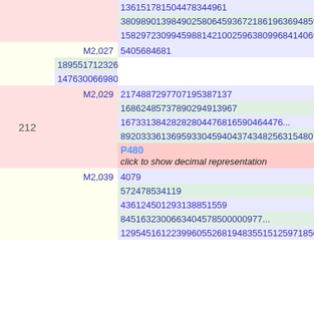|  |  | 136151781504478344961 |
|  |  | 380989013984902580645936721861963694859398... |
|  |  | 158297230994598814210025963809968414069765... |
|  | M2,027 | 5405684681 |
|  |  | 1895517123264185973281 |
|  |  | 14763006698084500108220568067968... |
| 212 | M2,029 | 2174887297707195387137 |
|  |  | 16862485737890294913967 |
|  |  | 16733138428282804476816590464476... |
|  |  | 8920333613695933045940437434825631548073968... |
|  |  | P480 / click to show decimal representation |
|  | M2,039 | 4079 |
|  |  | 572478534119 |
|  |  | 436124501293138851559 |
|  |  | 845163230066340457850000097... |
|  |  | 129545161223996055268194835515125971850930... |